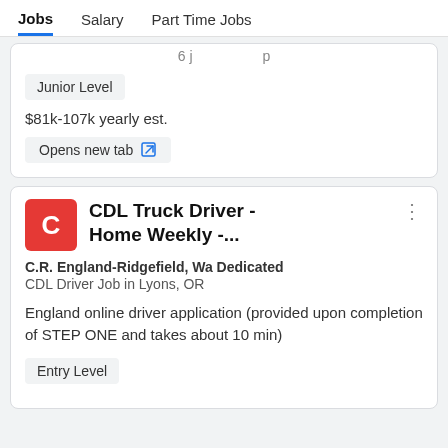Jobs  Salary  Part Time Jobs
$81k-107k yearly est.
Junior Level
Opens new tab
CDL Truck Driver - Home Weekly -...
C.R. England-Ridgefield, Wa Dedicated CDL Driver Job in Lyons, OR
England online driver application (provided upon completion of STEP ONE and takes about 10 min)
Entry Level